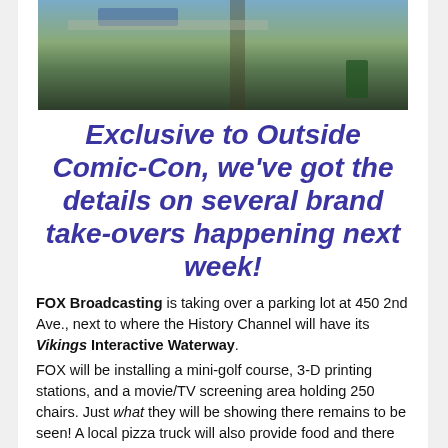[Figure (photo): Outdoor photo showing a street or parking area with a bridge/overpass structure, blue banners or tarps, and people in the background including someone in a green shirt. Appears to be at a convention or event.]
Exclusive to Outside Comic-Con, we've got the details on several brand take-overs happening next week!
FOX Broadcasting is taking over a parking lot at 450 2nd Ave., next to where the History Channel will have its Vikings Interactive Waterway. FOX will be installing a mini-golf course, 3-D printing stations, and a movie/TV screening area holding 250 chairs. Just what they will be showing there remains to be seen! A local pizza truck will also provide food and there will be tables set up. The FOX lot will be open Thursday through Saturday, 12-8pm.